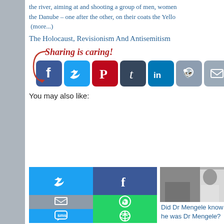the river, aiming at and shooting a group of men, women and children into the Danube – one after the other, on their coats the Yello… (more...)
The Holocaust, Revisionism And Antisemitism
[Figure (infographic): Sharing is caring! social share buttons: Facebook, Twitter, Pinterest, Tumblr, LinkedIn, Reddit, Email, Share]
You may also like:
[Figure (screenshot): Three article thumbnails and social share overlay buttons (Twitter, Facebook, Email, WhatsApp, SMS, Copy). Third thumbnail shows black and white photo of Dr Mengele.]
Did Dr Mengele know he was Dr Mengele?